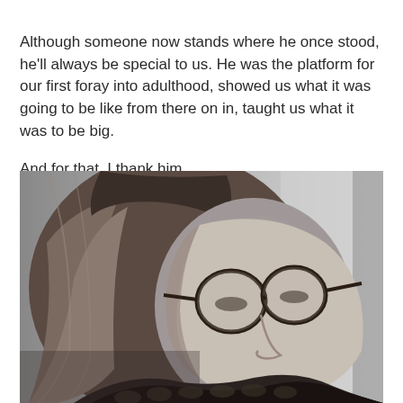Although someone now stands where he once stood, he'll always be special to us. He was the platform for our first foray into adulthood, showed us what it was going to be like from there on in, taught us what it was to be big.

And for that, I thank him.
[Figure (photo): Black and white photograph of a young woman with long wavy hair, bangs, and round tortoiseshell glasses, wearing a chunky knit scarf, looking upward slightly to the right.]